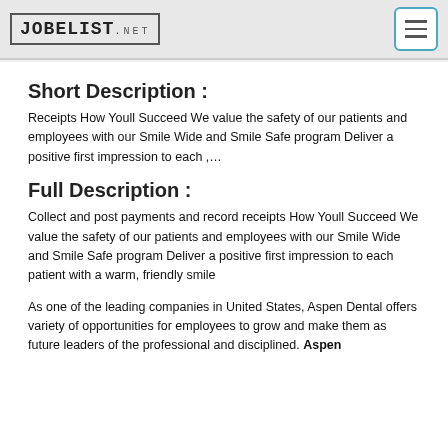JOBELIST.NET
Short Description :
Receipts How Youll Succeed We value the safety of our patients and employees with our Smile Wide and Smile Safe program Deliver a positive first impression to each ,…
Full Description :
Collect and post payments and record receipts How Youll Succeed We value the safety of our patients and employees with our Smile Wide and Smile Safe program Deliver a positive first impression to each patient with a warm, friendly smile
As one of the leading companies in United States, Aspen Dental offers variety of opportunities for employees to grow and make them as future leaders of the professional and disciplined. Aspen